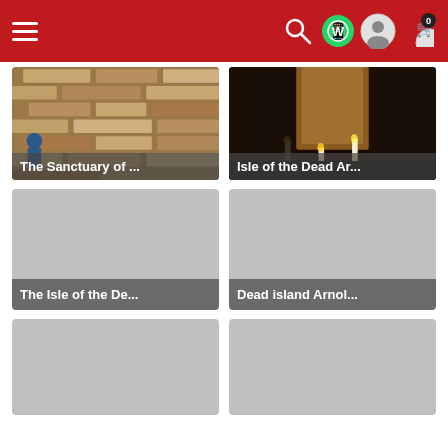Navigation bar with hamburger menu, search, WhatsApp, user, and cart icons
[Figure (photo): The Sanctuary of ... - photo of stone brick wall construction with people]
[Figure (photo): Isle of the Dead Ar... - dark atmospheric photo with candles and rocky cave]
[Figure (photo): The Isle of the De... - gray placeholder image]
[Figure (photo): Dead island Arnol... - gray placeholder image]
[Figure (photo): Gray placeholder image bottom left]
[Figure (photo): Gray placeholder image bottom right]